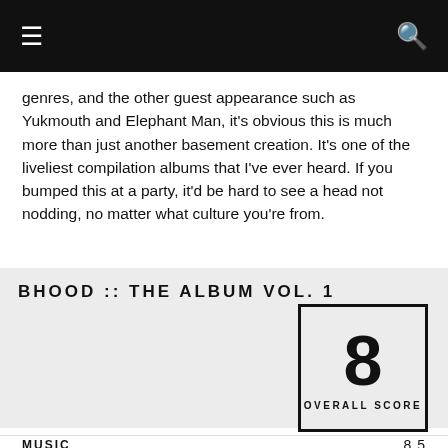☰  🔍
genres, and the other guest appearance such as Yukmouth and Elephant Man, it's obvious this is much more than just another basement creation. It's one of the liveliest compilation albums that I've ever heard. If you bumped this at a party, it'd be hard to see a head not nodding, no matter what culture you're from.
BHOOD :: THE ALBUM VOL. 1
[Figure (infographic): Score box showing large number 8 with label 'Overall Score' below it, bordered in black]
Music  8.5
Lyrics  7.5